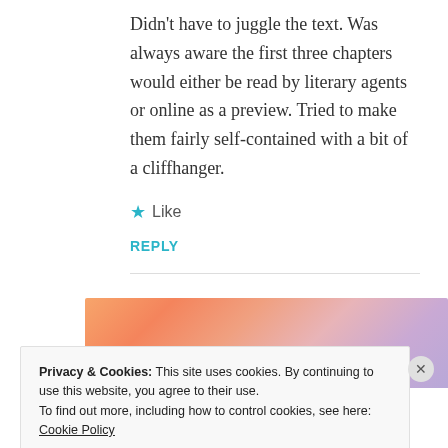Didn’t have to juggle the text. Was always aware the first three chapters would either be read by literary agents or online as a preview. Tried to make them fairly self-contained with a bit of a cliffhanger.
★ Like
REPLY
[Figure (photo): Partially visible colorful gradient image with orange, pink, and purple tones, cropped at the bottom of the content area.]
Privacy & Cookies: This site uses cookies. By continuing to use this website, you agree to their use.
To find out more, including how to control cookies, see here: Cookie Policy
Close and accept